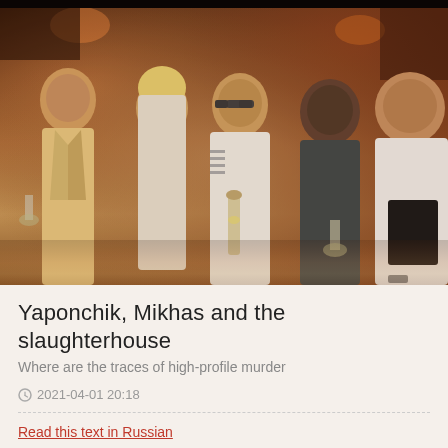[Figure (photo): Group photo of five people (four men and one woman) in a warm, dimly lit restaurant or event venue. The people are dressed in light-colored clothing, some holding drinks. The background shows warm red/amber tones suggesting an upscale restaurant interior.]
Yaponchik, Mikhas and the slaughterhouse
Where are the traces of high-profile murder
© 2021-04-01 20:18
Read this text in Russian
Source: www.rucriminal.info